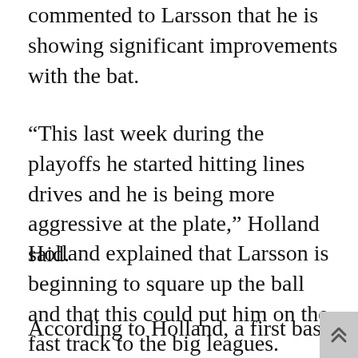commented to Larsson that he is showing significant improvements with the bat.
“This last week during the playoffs he started hitting lines drives and he is being more aggressive at the plate,” Holland said.
Holland explained that Larsson is beginning to square up the ball and that this could put him on the fast track to the big leagues.
According to Holland, a first base